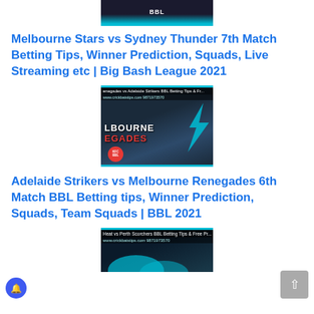[Figure (photo): Top cropped image showing BBL logo banner with teal bottom border]
Melbourne Stars vs Sydney Thunder 7th Match Betting Tips, Winner Prediction, Squads, Live Streaming etc | Big Bash League 2021
[Figure (photo): Melbourne Renegades vs Adelaide Strikers BBL Betting Tips image from crickbatstips.com featuring Renegades and Strikers logos]
Adelaide Strikers vs Melbourne Renegades 6th Match BBL Betting tips, Winner Prediction, Squads, Team Squads | BBL 2021
[Figure (photo): Heat vs Perth Scorchers BBL Betting Tips image from crickbatstips.com partially visible at bottom]